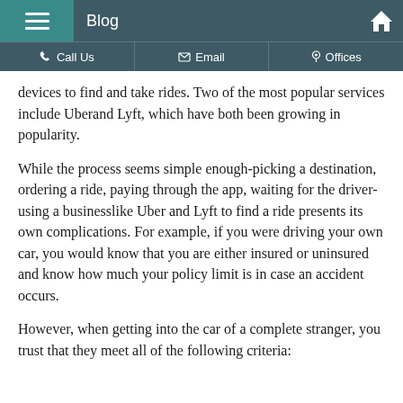Blog
Call Us | Email | Offices
devices to find and take rides. Two of the most popular services include Uberand Lyft, which have both been growing in popularity.
While the process seems simple enough-picking a destination, ordering a ride, paying through the app, waiting for the driver-using a businesslike Uber and Lyft to find a ride presents its own complications. For example, if you were driving your own car, you would know that you are either insured or uninsured and know how much your policy limit is in case an accident occurs.
However, when getting into the car of a complete stranger, you trust that they meet all of the following criteria: